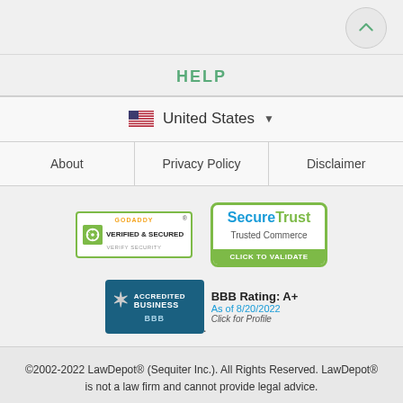[Figure (other): Back-to-top arrow button (chevron up) in circular button at top right]
HELP
United States (dropdown)
About | Privacy Policy | Disclaimer
[Figure (logo): GoDaddy Verified & Secured badge]
[Figure (logo): SecureTrust Trusted Commerce - Click to Validate badge]
[Figure (logo): BBB Accredited Business with BBB Rating: A+ as of 8/20/2022, Click for Profile]
©2002-2022 LawDepot® (Sequiter Inc.). All Rights Reserved. LawDepot® is not a law firm and cannot provide legal advice.
Use of this site is subject to our Terms of Use. This site is protected by